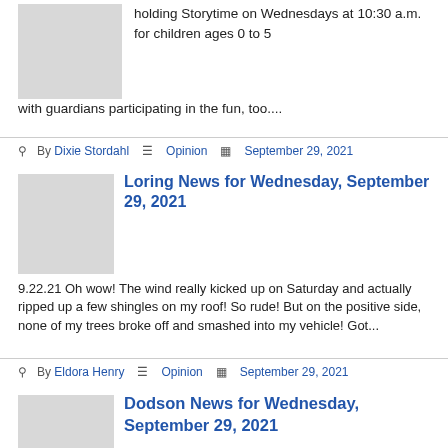holding Storytime on Wednesdays at 10:30 a.m. for children ages 0 to 5 with guardians participating in the fun, too....
By Dixie Stordahl  Opinion  September 29, 2021
Loring News for Wednesday, September 29, 2021
9.22.21 Oh wow! The wind really kicked up on Saturday and actually ripped up a few shingles on my roof! So rude! But on the positive side, none of my trees broke off and smashed into my vehicle! Got...
By Eldora Henry  Opinion  September 29, 2021
Dodson News for Wednesday, September 29, 2021